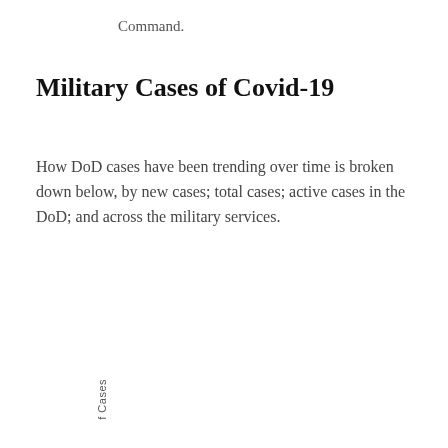Command.
Military Cases of Covid-19
How DoD cases have been trending over time is broken down below, by new cases; total cases; active cases in the DoD; and across the military services.
[Figure (other): Chart widget titled 'New DoD Cases of Covid-19' with subtitle 'Click and drag to zoom in' and a hamburger menu icon. Chart area is mostly empty/loading. Y-axis label partially visible reading 'f Cases'.]